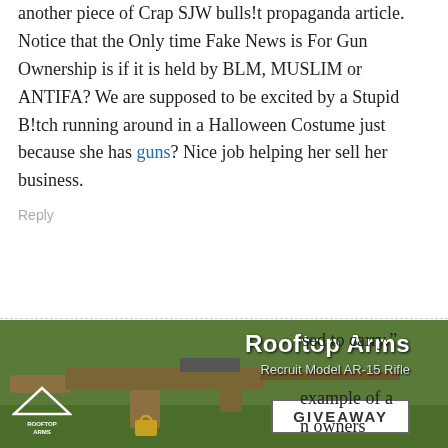another piece of Crap SJW bulls!t propaganda article. Notice that the Only time Fake News is For Gun Ownership is if it is held by BLM, MUSLIM or ANTIFA? We are supposed to be excited by a Stupid B!tch running around in a Halloween Costume just because she has guns? Nice job helping her sell her business.
Reply
Chris T in KY
May 5, 2019 At 23:35
“She’s responsible in the way that she does it,” said Aliya Khabir, a communications consultant who [used to carry.]
[Figure (photo): Advertisement overlay for Rooftop Arms showing an AR-15 rifle image with text 'Rooftop Arms', 'Recruit Model AR-15 Rifle', and a GIVEAWAY button, with a Rooftop Arms logo in the lower left.]
[example of a [h owners